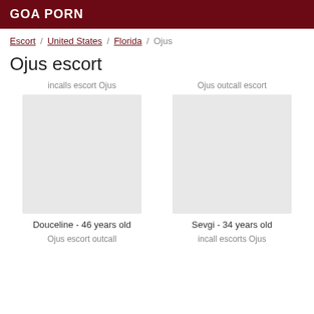GOA PORN
Escort / United States / Florida / Ojus
Ojus escort
incalls escort Ojus
Ojus outcall escort
Douceline - 46 years old
Sevgi - 34 years old
Ojus escort outcall
incall escorts Ojus